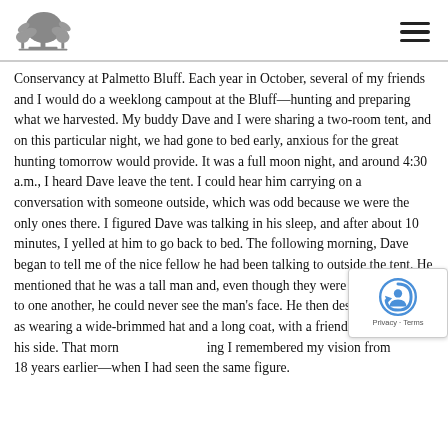[Logo: Palmetto Bluff tree icon] [Hamburger menu]
Conservancy at Palmetto Bluff. Each year in October, several of my friends and I would do a weeklong campout at the Bluff—hunting and preparing what we harvested. My buddy Dave and I were sharing a two-room tent, and on this particular night, we had gone to bed early, anxious for the great hunting tomorrow would provide. It was a full moon night, and around 4:30 a.m., I heard Dave leave the tent. I could hear him carrying on a conversation with someone outside, which was odd because we were the only ones there. I figured Dave was talking in his sleep, and after about 10 minutes, I yelled at him to go back to bed. The following morning, Dave began to tell me of the nice fellow he had been talking to outside the tent. He mentioned that he was a tall man and, even though they were standing close to one another, he could never see the man's face. He then described the man as wearing a wide-brimmed hat and a long coat, with a friendly black dog at his side. That morning I remembered my vision from
18 years earlier—when I had seen the same figure.